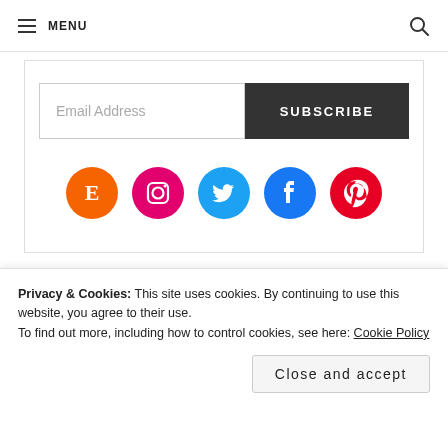≡ MENU 🔍
Email Address
SUBSCRIBE
[Figure (infographic): Social media icons row: Etsy (orange circle), Instagram (pink circle), Twitter (light blue circle), Facebook (blue circle), Pinterest (red circle)]
INSTAGRAM
[Figure (photo): Row of Instagram photos partially visible]
Privacy & Cookies: This site uses cookies. By continuing to use this website, you agree to their use.
To find out more, including how to control cookies, see here: Cookie Policy
Close and accept